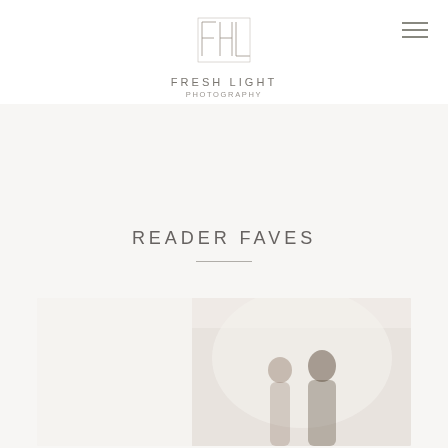[Figure (logo): Fresh Light Photography monogram logo — stylized FHL letters in thin serif lines]
FRESH LIGHT
PHOTOGRAPHY
READER FAVES
[Figure (photo): Partially visible photograph of a couple, person with curly hair visible from behind and a man with dark hair, bright white background, romantic pose]